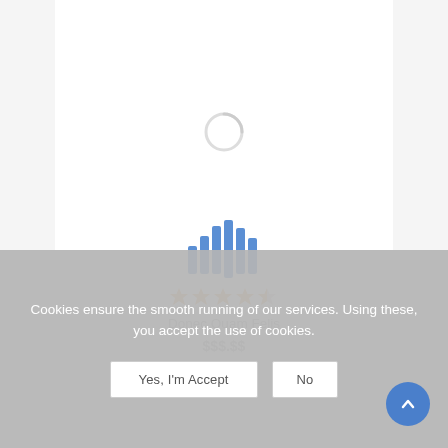[Figure (illustration): Loading spinner arc (grey partial circle) centered in white content area]
[Figure (logo): Blue vertical bar waveform/equalizer icon with bars of varying heights]
[Figure (other): 4 and a half star rating in peach/orange color]
Donec Quam Felis
$$$.$$ (price, greyed out)
Cookies ensure the smooth running of our services. Using these, you accept the use of cookies.
Yes, I'm Accept
No